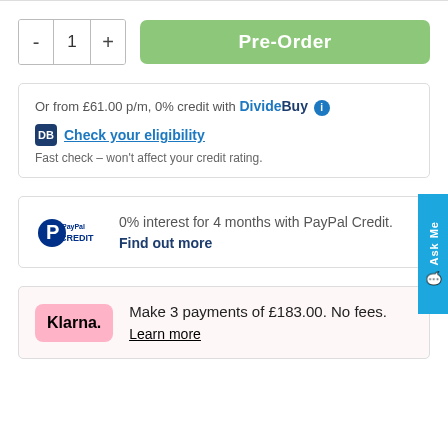[Figure (screenshot): Quantity selector with minus, 1, plus buttons and a green Pre-Order button]
Or from £61.00 p/m, 0% credit with DivideBuy
Check your eligibility
Fast check – won't affect your credit rating.
0% interest for 4 months with PayPal Credit. Find out more
Make 3 payments of £183.00. No fees.
Learn more